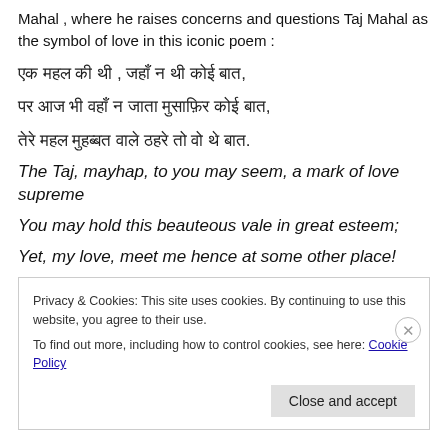Mahal , where he raises concerns and questions Taj Mahal as the symbol of love in this iconic poem :
[Hindi verse line 1]
[Hindi verse line 2]
[Hindi verse line 3]
The Taj, mayhap, to you may seem, a mark of love supreme
You may hold this beauteous vale in great esteem;
Yet, my love, meet me hence at some other place!
Privacy & Cookies: This site uses cookies. By continuing to use this website, you agree to their use.
To find out more, including how to control cookies, see here: Cookie Policy
[Close and accept button]